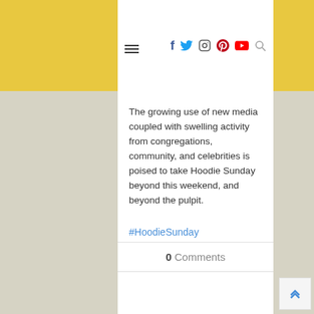Navigation menu and social icons: f (Facebook), Twitter, Instagram, Pinterest, YouTube, Search
The growing use of new media coupled with swelling activity from congregations, community, and celebrities is poised to take Hoodie Sunday beyond this weekend, and beyond the pulpit.
#HoodieSunday #TrayvonMartin #Trayvon
0 Comments